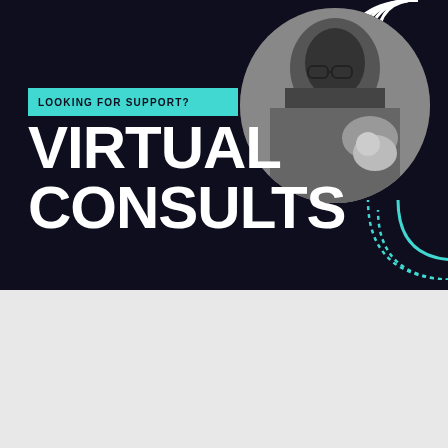[Figure (infographic): Dark navy background promotional banner with teal accent bar reading 'LOOKING FOR SUPPORT?' above large bold white text 'VIRTUAL CONSULTS'. A circular black-and-white photo of a woman with glasses holding a newborn baby appears in the top right. Decorative concentric arc lines and teal dotted arc appear as graphic elements.]
LOOKING FOR SUPPORT?
VIRTUAL CONSULTS
[Figure (photo): Gray background panel showing a partial view of a person, likely in a medical or consultation setting, with decorative concentric stripe arc graphics overlaid. A white coat and a mug are partially visible.]